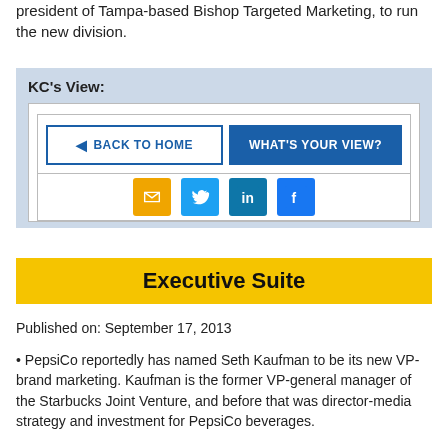president of Tampa-based Bishop Targeted Marketing, to run the new division.
KC's View:
[Figure (infographic): Navigation buttons: 'Back to Home' and 'What's Your View?' plus social icons for email, Twitter, LinkedIn, Facebook]
Executive Suite
Published on: September 17, 2013
• PepsiCo reportedly has named Seth Kaufman to be its new VP-brand marketing. Kaufman is the former VP-general manager of the Starbucks Joint Venture, and before that was director-media strategy and investment for PepsiCo beverages.